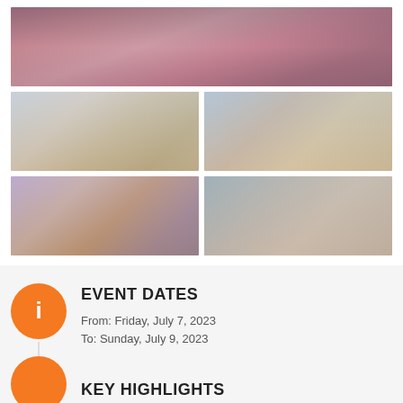[Figure (photo): Top wide photo: group of people in pink baroque costumes on a float or balcony]
[Figure (photo): Middle left: person in elaborate white and gold costume with tall headdress in a crowd]
[Figure (photo): Middle right: young man with turquoise/blue eye paint looking at camera]
[Figure (photo): Bottom left: person with skull face paint and colorful royal crown costume]
[Figure (photo): Bottom right: two shirtless men with black angel wings posing outdoors]
EVENT DATES
From: Friday, July 7, 2023
To: Sunday, July 9, 2023
KEY HIGHLIGHTS